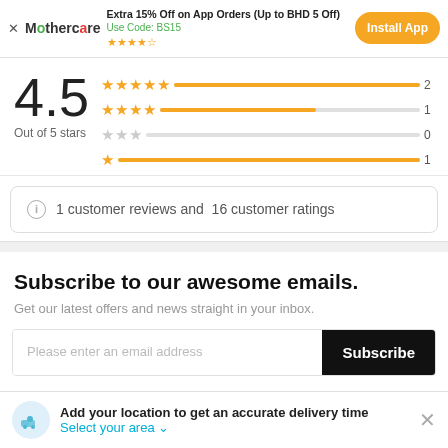× Mothercare — Extra 15% Off on App Orders (Up to BHD 5 Off) Use Code: BS15 ★★★★☆ — Install App
[Figure (bar-chart): 4.5 Out of 5 stars]
1 customer reviews and 16 customer ratings
Subscribe to our awesome emails.
Get our latest offers and news straight in your inbox.
Please enter an email address — Subscribe
Add your location to get an accurate delivery time — Select your area ∨